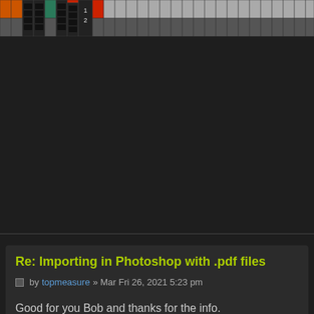[Figure (screenshot): A row of audio plugin/mixer channel strip units shown at the top of the page, dark background with colorful knobs and faders.]
Re: Importing in Photoshop with .pdf files
by topmeasure » Mar Fri 26, 2021 5:23 pm
Good for you Bob and thanks for the info.